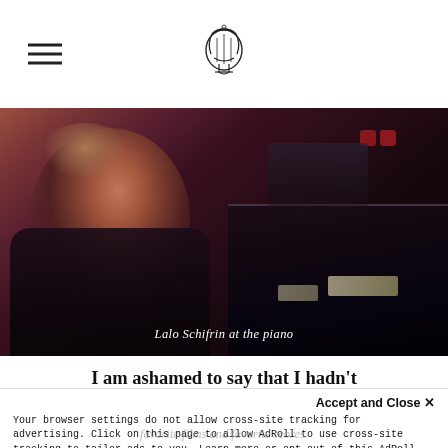[hamburger menu icon] [lyre/music logo]
[Figure (photo): Lalo Schifrin seated at a piano, looking upward, in dark dramatic concert lighting with red/purple tones. He wears a dark suit and glasses.]
Lalo Schifrin at the piano
I am ashamed to say that I hadn't
realized you wrote the music for G
Accept and Close ×
Your browser settings do not allow cross-site tracking for advertising. Click on this page to allow AdRoll to use cross-site tracking to tailor ads to you. Learn more or opt out of this AdRoll tracking by clicking here. This message only appears once.
favorite films and favorite scores.